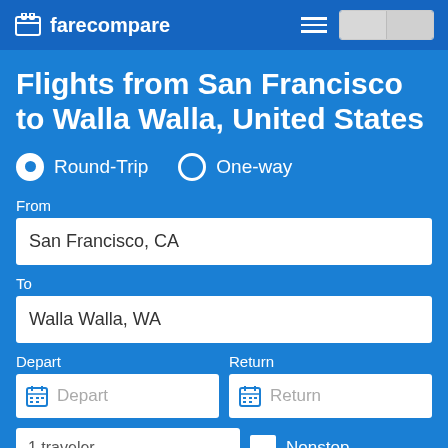farecompare
Flights from San Francisco to Walla Walla, United States
Round-Trip   One-way
From
San Francisco, CA
To
Walla Walla, WA
Depart   Return
1 traveler   Nonstop